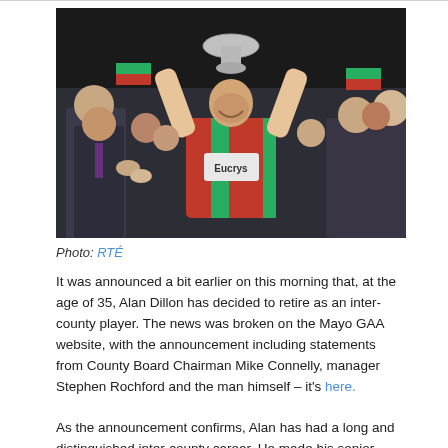[Figure (photo): A GAA football player in a red and green Mayo jersey lifts a large silver trophy above his head while smiling, surrounded by celebrating crowd and officials.]
Photo: RTÉ
It was announced a bit earlier on this morning that, at the age of 35, Alan Dillon has decided to retire as an inter-county player. The news was broken on the Mayo GAA website, with the announcement including statements from County Board Chairman Mike Connelly, manager Stephen Rochford and the man himself – it's here.
As the announcement confirms, Alan has had a long and distinguished inter-county career. He made his senior